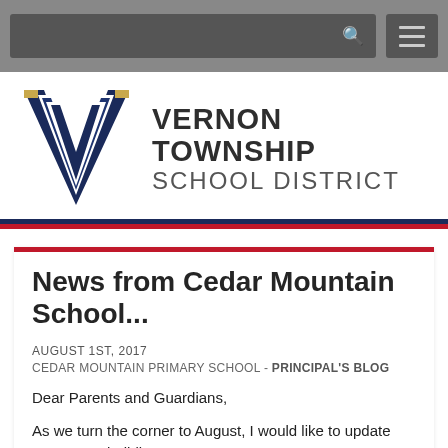[Figure (screenshot): Top navigation bar with search input and hamburger menu button]
[Figure (logo): Vernon Township School District logo with stylized V and text]
News from Cedar Mountain School...
AUGUST 1ST, 2017
CEDAR MOUNTAIN PRIMARY SCHOOL - PRINCIPAL'S BLOG
Dear Parents and Guardians,
As we turn the corner to August, I would like to update you on our building move.